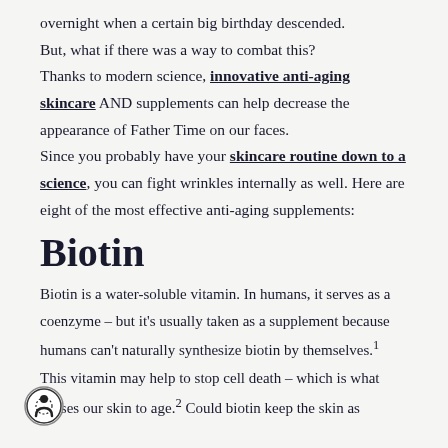overnight when a certain big birthday descended. But, what if there was a way to combat this? Thanks to modern science, innovative anti-aging skincare AND supplements can help decrease the appearance of Father Time on our faces. Since you probably have your skincare routine down to a science, you can fight wrinkles internally as well. Here are eight of the most effective anti-aging supplements:
Biotin
Biotin is a water-soluble vitamin. In humans, it serves as a coenzyme – but it's usually taken as a supplement because humans can't naturally synthesize biotin by themselves.¹
This vitamin may help to stop cell death – which is what causes our skin to age.² Could biotin keep the skin as